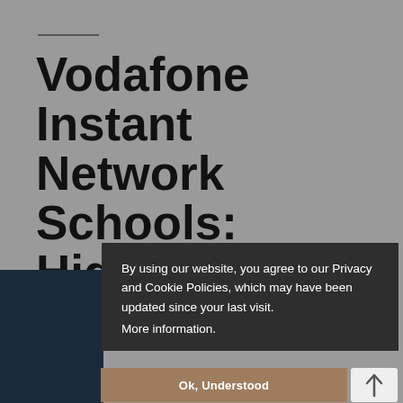Vodafone Instant Network Schools: Highlights and Drawbacks
By using our website, you agree to our Privacy and Cookie Policies, which may have been updated since your last visit.
More information.
Ok, Understood